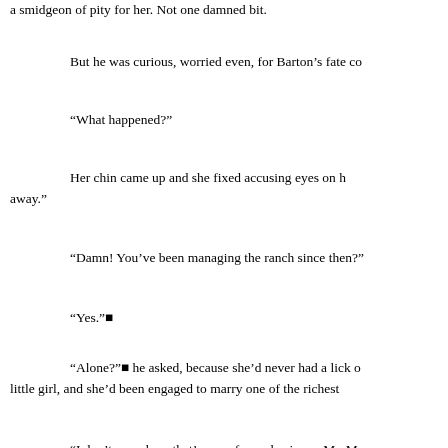a smidgeon of pity for her. Not one damned bit.
But he was curious, worried even, for Barton's fate co
“What happened?”
Her chin came up and she fixed accusing eyes on h away.”
“Damn! You’ve been managing the ranch since then?”
“Yes.”■
“Alone?”■ he asked, because she’d never had a lick o little girl, and she’d been engaged to marry one of the richest
“I don’t see where that’s any of your business, Mr. Ma ask more probing questions.
Oh, he had plenty of them to ask, but he wouldn’t. Th never crossed his mind these past six months.
“Now that you know, you can leave,”■ she said.
“I’ll gladly do just that after I collect what’s owed me.”■